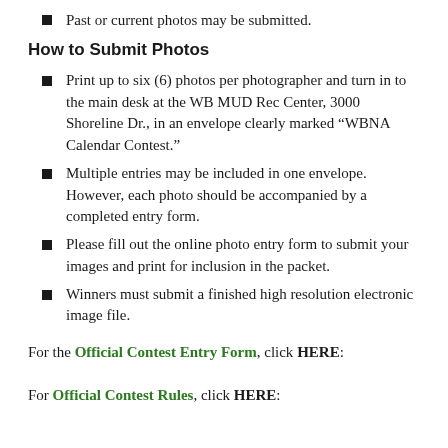Past or current photos may be submitted.
How to Submit Photos
Print up to six (6) photos per photographer and turn in to the main desk at the WB MUD Rec Center, 3000 Shoreline Dr., in an envelope clearly marked “WBNA Calendar Contest.”
Multiple entries may be included in one envelope. However, each photo should be accompanied by a completed entry form.
Please fill out the online photo entry form to submit your images and print for inclusion in the packet.
Winners must submit a finished high resolution electronic image file.
For the Official Contest Entry Form, click HERE:
For Official Contest Rules, click HERE: